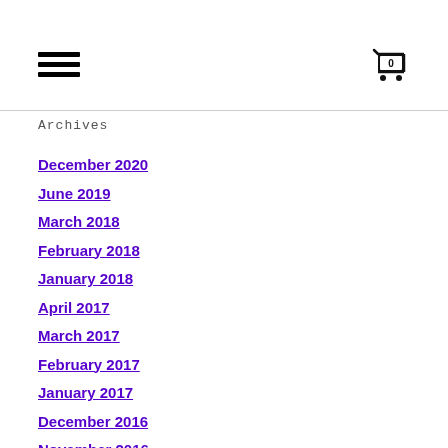Navigation header with hamburger menu and cart icon (0)
Archives
December 2020
June 2019
March 2018
February 2018
January 2018
April 2017
March 2017
February 2017
January 2017
December 2016
November 2016
October 2016
September 2016
July 2016
June 2016
May 2016